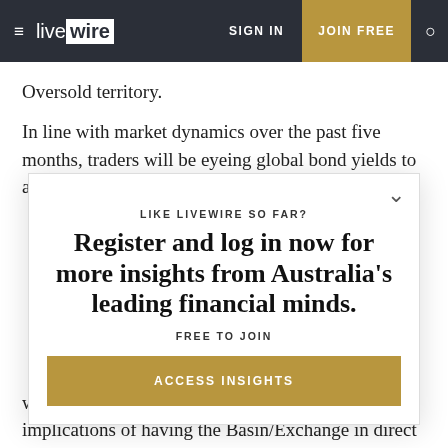≡ livewire  SIGN IN  JOIN FREE  🔍
Oversold territory.
In line with market dynamics over the past five months, traders will be eyeing global bond yields to assess how long, how far, how deep, and exactly
LIKE LIVEWIRE SO FAR?
Register and log in now for more insights from Australia's leading financial minds.
FREE TO JOIN
ACCESS INSIGHTS
with clients over the past weeks about the exact implications of having the Basin/Exchange in direct